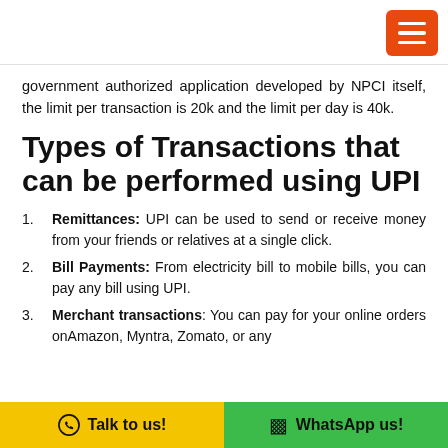[hamburger menu button]
government authorized application developed by NPCI itself, the limit per transaction is 20k and the limit per day is 40k.
Types of Transactions that can be performed using UPI
Remittances: UPI can be used to send or receive money from your friends or relatives at a single click.
Bill Payments: From electricity bill to mobile bills, you can pay any bill using UPI.
Merchant transactions: You can pay for your online orders onAmazon, Myntra, Zomato, or any
Talk to us!  WhatsApp us!